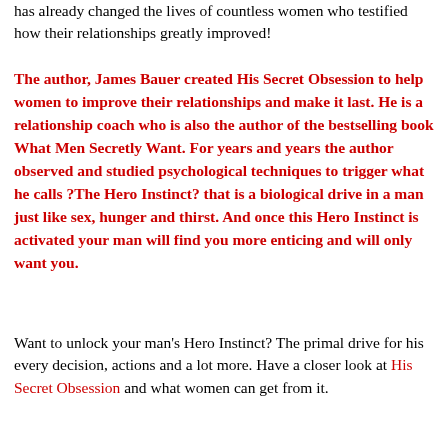has already changed the lives of countless women who testified how their relationships greatly improved!
The author, James Bauer created His Secret Obsession to help women to improve their relationships and make it last. He is a relationship coach who is also the author of the bestselling book What Men Secretly Want. For years and years the author observed and studied psychological techniques to trigger what he calls ?The Hero Instinct? that is a biological drive in a man just like sex, hunger and thirst. And once this Hero Instinct is activated your man will find you more enticing and will only want you.
Want to unlock your man's Hero Instinct? The primal drive for his every decision, actions and a lot more. Have a closer look at His Secret Obsession and what women can get from it.